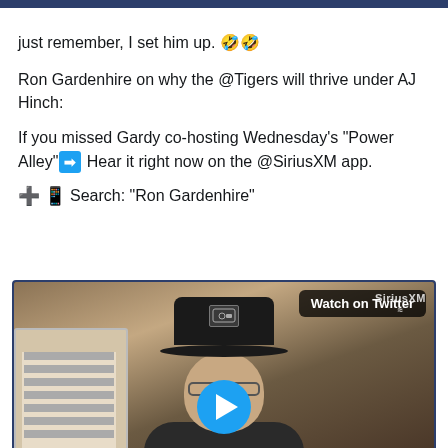just remember, I set him up. 🤣🤣
Ron Gardenhire on why the @Tigers will thrive under AJ Hinch:
If you missed Gardy co-hosting Wednesday's "Power Alley" ➡ Hear it right now on the @SiriusXM app.
➕📱 Search: "Ron Gardenhire"
[Figure (screenshot): Video thumbnail showing a man wearing a dark baseball cap with a logo, glasses, in a room. A 'Watch on Twitter' badge is in the top right. A blue play button is centered at the bottom. 'SiriusXM' watermark visible.]